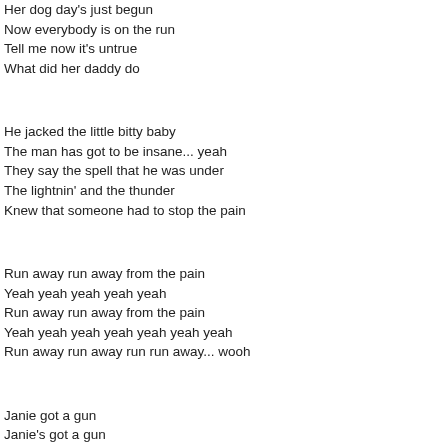Her dog day's just begun
Now everybody is on the run
Tell me now it's untrue
What did her daddy do
He jacked the little bitty baby
The man has got to be insane... yeah
They say the spell that he was under
The lightnin' and the thunder
Knew that someone had to stop the pain
Run away run away from the pain
Yeah yeah yeah yeah yeah
Run away run away from the pain
Yeah yeah yeah yeah yeah yeah yeah
Run away run away run run away... wooh
Janie got a gun
Janie's got a gun
Her dog day's just begun